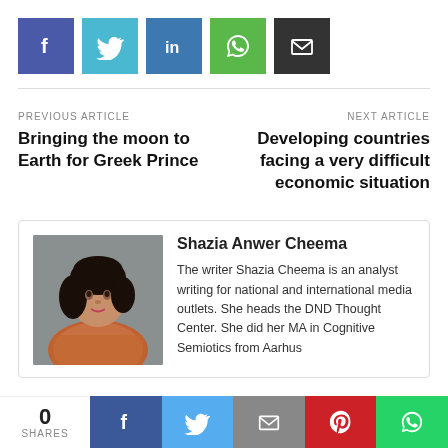[Figure (infographic): Social share buttons row: Facebook (purple-blue), Twitter (cyan), LinkedIn (blue), WhatsApp (green), Email (dark/black)]
PREVIOUS ARTICLE
Bringing the moon to Earth for Greek Prince
NEXT ARTICLE
Developing countries facing a very difficult economic situation
[Figure (photo): Portrait photo of Shazia Anwer Cheema, a woman with dark hair wearing a patterned outfit]
Shazia Anwer Cheema
The writer Shazia Cheema is an analyst writing for national and international media outlets. She heads the DND Thought Center. She did her MA in Cognitive Semiotics from Aarhus
0 SHARES  [Facebook] [Twitter] [Email] [Pinterest] [WhatsApp]